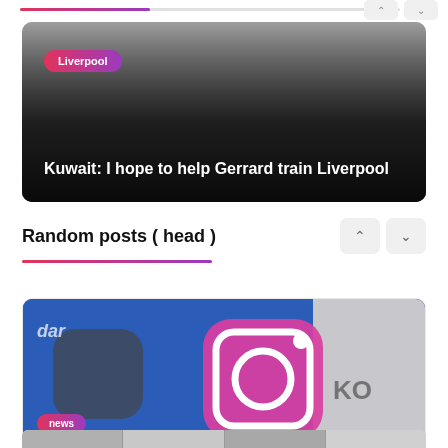[Figure (screenshot): Progress bar at top of page, partially filled with a red-to-purple gradient]
[Figure (photo): Hero card with dark gradient overlay showing a Liverpool football category tag and headline: Kuwait: I hope to help Gerrard train Liverpool]
Kuwait: I hope to help Gerrard train Liverpool
Random posts ( head )
[Figure (photo): Instagram app icon on a blue-purple background with 'dar' watermark text, news tag, and headline: Instagram is testing Vertical Stories Feed]
Instagram is testing Vertical Stories Feed
[Figure (screenshot): Bottom strip showing partial next card thumbnails]